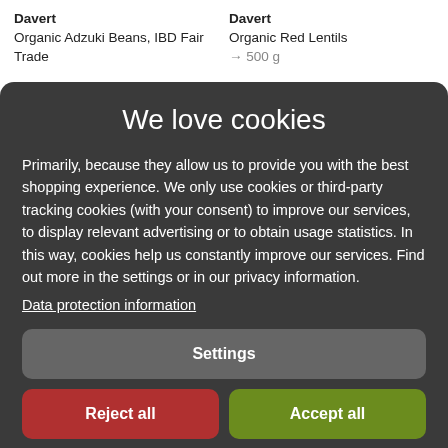Davert
Organic Adzuki Beans, IBD Fair Trade
Davert
Organic Red Lentils
→ 500 g
We love cookies
Primarily, because they allow us to provide you with the best shopping experience. We only use cookies or third-party tracking cookies (with your consent) to improve our services, to display relevant advertising or to obtain usage statistics. In this way, cookies help us constantly improve our services. Find out more in the settings or in our privacy information.
Data protection information
Settings
Reject all
Accept all